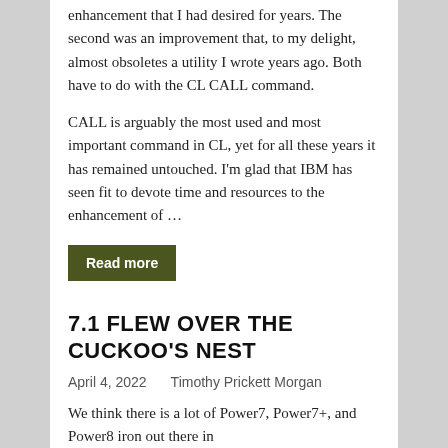enhancement that I had desired for years. The second was an improvement that, to my delight, almost obsoletes a utility I wrote years ago. Both have to do with the CL CALL command.
CALL is arguably the most used and most important command in CL, yet for all these years it has remained untouched. I'm glad that IBM has seen fit to devote time and resources to the enhancement of …
Read more
7.1 FLEW OVER THE CUCKOO'S NEST
April 4, 2022    Timothy Prickett Morgan
We think there is a lot of Power7, Power7+, and Power8 iron out there in